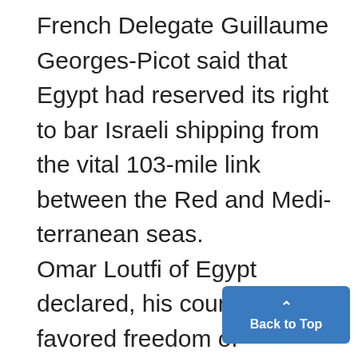French Delegate Guillaume Georges-Picot said that Egypt had reserved its right to bar Israeli shipping from the vital 103-mile link between the Red and Mediterranean seas. Omar Loutfi of Egypt declared, his country favored freedom of navigation through the canal but did not make clear whether this included Israel, long excluded. Lodge said that the interests of Egypt and the users required "t assumption that there will in fa